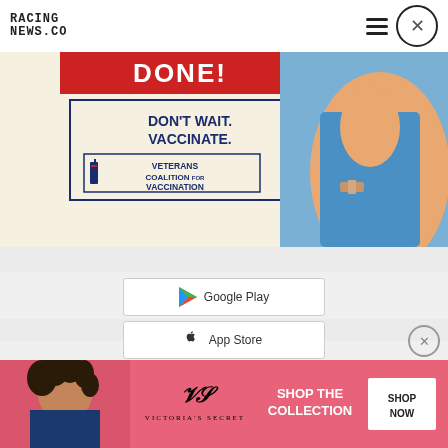[Figure (logo): Racing News .co logo in monospace uppercase style]
[Figure (screenshot): Close button X icon circle in header]
[Figure (photo): Veterans Coalition for Vaccination advertisement banner showing 'DON'T WAIT. VACCINATE.' with a syringe illustration and person flexing arm with bandage]
[Figure (screenshot): Google Play store button with triangular play icon]
[Figure (screenshot): App Store button with Apple logo icon]
[Figure (photo): Victoria's Secret advertisement banner showing 'SHOP THE COLLECTION' with 'SHOP NOW' button, VS logo, and model with curly hair on pink background]